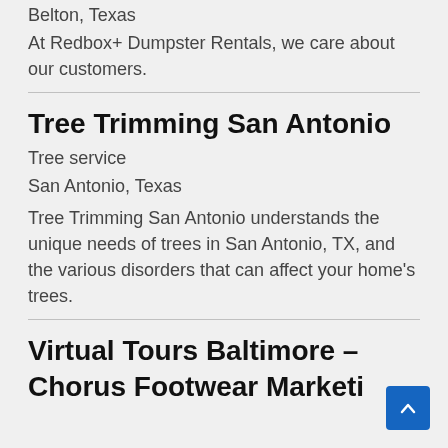Belton, Texas
At Redbox+ Dumpster Rentals, we care about our customers.
Tree Trimming San Antonio
Tree service
San Antonio, Texas
Tree Trimming San Antonio understands the unique needs of trees in San Antonio, TX, and the various disorders that can affect your home’s trees.
Virtual Tours Baltimore – Chorus Footwear Marketing